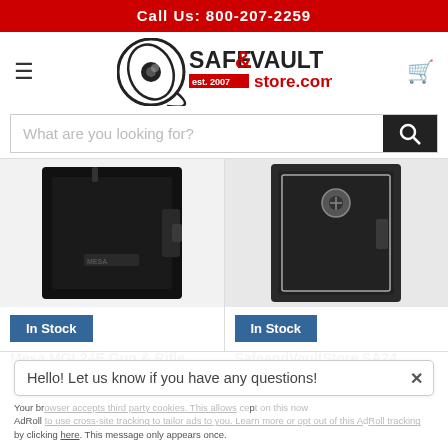Call Us: 800-207-2259
[Figure (logo): Safe & Vault Store logo with circular lens icon and text 'SAFE & VAULT est. 2007 store.com']
What are you looking for?
[Figure (photo): Mesa MGL24E Gun & Rifle Safe product photo - black safe]
In Stock
Mesa MGL24E Gun & Rifle
[Figure (photo): SafeandVaultStore SA24 gun safe product photo - dark gray safe with handle]
In Stock
SafeandVaultStore SA24
Hello! Let us know if you have any questions!
Your browser accepts third party cookies. This allows AdRoll and our advertising partners to use cookies and similar technologies to tailor ads to you. Learn more or opt out of this AdRoll tracking by clicking here. This message only appears once.